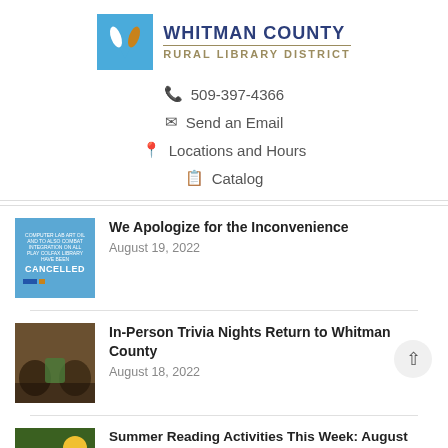[Figure (logo): Whitman County Rural Library District logo with blue W icon]
509-397-4366
Send an Email
Locations and Hours
Catalog
We Apologize for the Inconvenience
August 19, 2022
In-Person Trivia Nights Return to Whitman County
August 18, 2022
Summer Reading Activities This Week: August